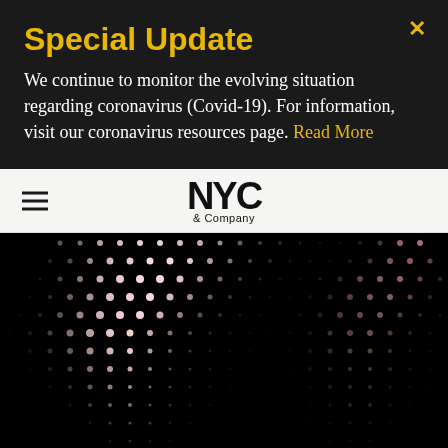Special Update
We continue to monitor the evolving situation regarding coronavirus (Covid-19). For information, visit our coronavirus resources page. Read More
NYC & Company
[Figure (photo): Dark abstract halftone dot pattern photograph, showing a diagonal wave of glowing pink/white dots on a black background, resembling a coronavirus or abstract light sculpture]